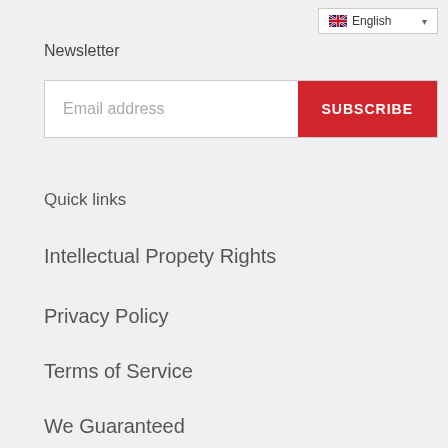[Figure (screenshot): Language selector dropdown showing English with UK flag icon]
Newsletter
[Figure (screenshot): Email address input field with red SUBSCRIBE button]
Quick links
Intellectual Propety Rights
Privacy Policy
Terms of Service
We Guaranteed